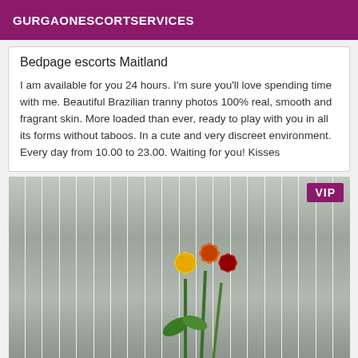GURGAONESCORTSERVICES
Bedpage escorts Maitland
I am available for you 24 hours. I'm sure you'll love spending time with me. Beautiful Brazilian tranny photos 100% real, smooth and fragrant skin. More loaded than ever, ready to play with you in all its forms without taboos. In a cute and very discreet environment. Every day from 10.00 to 23.00. Waiting for you! Kisses
[Figure (photo): A hand holding yellow and red/orange zinnia flowers against a grey striped curtain background, with a 'VIP' badge in the top right corner.]